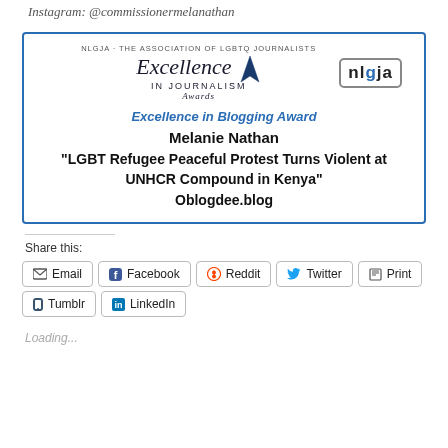Instagram: @commissionermelanathan
[Figure (other): NLGJA Excellence in Journalism Awards certificate/badge showing award for Excellence in Blogging Award given to Melanie Nathan for 'LGBT Refugee Peaceful Protest Turns Violent at UNHCR Compound in Kenya' on Oblogdee.blog]
Share this:
Email
Facebook
Reddit
Twitter
Print
Tumblr
LinkedIn
Loading...